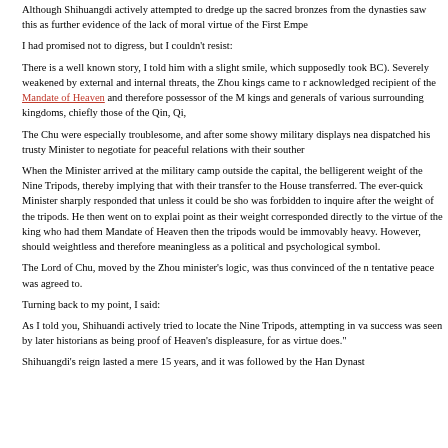Although Shihuangdi actively attempted to dredge up the sacred bronzes from the dynasties saw this as further evidence of the lack of moral virtue of the First Empe
I had promised not to digress, but I couldn't resist:
There is a well known story, I told him with a slight smile, which supposedly took BC). Severely weakened by external and internal threats, the Zhou kings came to r acknowledged recipient of the Mandate of Heaven and therefore possessor of the M kings and generals of various surrounding kingdoms, chiefly those of the Qin, Qi,
The Chu were especially troublesome, and after some showy military displays nea dispatched his trusty Minister to negotiate for peaceful relations with their souther
When the Minister arrived at the military camp outside the capital, the belligerent weight of the Nine Tripods, thereby implying that with their transfer to the House transferred. The ever-quick Minister sharply responded that unless it could be sho was forbidden to inquire after the weight of the tripods. He then went on to explai point as their weight corresponded directly to the virtue of the king who had them Mandate of Heaven then the tripods would be immovably heavy. However, should weightless and therefore meaningless as a political and psychological symbol.
The Lord of Chu, moved by the Zhou minister's logic, was thus convinced of the n tentative peace was agreed to.
Turning back to my point, I said:
As I told you, Shihuandi actively tried to locate the Nine Tripods, attempting in va success was seen by later historians as being proof of Heaven's displeasure, for as virtue does."
Shihuangdi's reign lasted a mere 15 years, and it was followed by the Han Dynasty